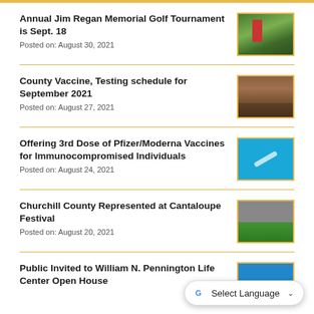Annual Jim Regan Memorial Golf Tournament is Sept. 18
Posted on: August 30, 2021
[Figure (photo): People playing golf on a green course]
County Vaccine, Testing schedule for September 2021
Posted on: August 27, 2021
[Figure (photo): Outdoor vaccination/testing site with vehicles]
Offering 3rd Dose of Pfizer/Moderna Vaccines for Immunocompromised Individuals
Posted on: August 24, 2021
[Figure (photo): Syringe on a blue background]
Churchill County Represented at Cantaloupe Festival
Posted on: August 20, 2021
[Figure (photo): People at a county booth at Cantaloupe Festival]
Public Invited to William N. Pennington Life Center Open House